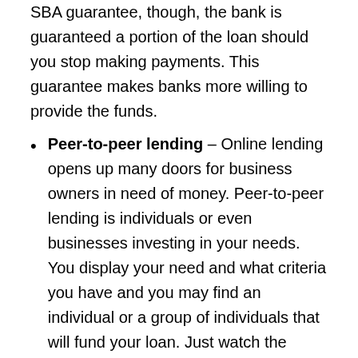SBA guarantee, though, the bank is guaranteed a portion of the loan should you stop making payments. This guarantee makes banks more willing to provide the funds.
Peer-to-peer lending – Online lending opens up many doors for business owners in need of money. Peer-to-peer lending is individuals or even businesses investing in your needs. You display your need and what criteria you have and you may find an individual or a group of individuals that will fund your loan. Just watch the terms and the fees on these types of loans.
Step 8: Keeping Your